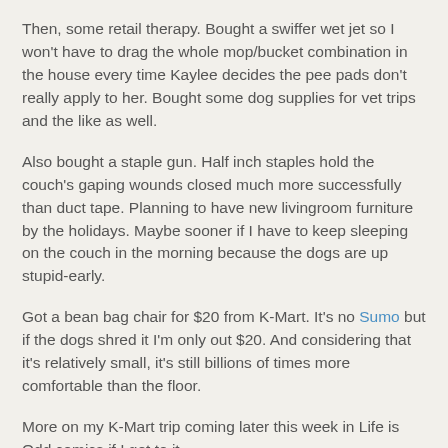Then, some retail therapy. Bought a swiffer wet jet so I won't have to drag the whole mop/bucket combination in the house every time Kaylee decides the pee pads don't really apply to her. Bought some dog supplies for vet trips and the like as well.
Also bought a staple gun. Half inch staples hold the couch's gaping wounds closed much more successfully than duct tape. Planning to have new livingroom furniture by the holidays. Maybe sooner if I have to keep sleeping on the couch in the morning because the dogs are up stupid-early.
Got a bean bag chair for $20 from K-Mart. It's no Sumo but if the dogs shred it I'm only out $20. And considering that it's relatively small, it's still billions of times more comfortable than the floor.
More on my K-Mart trip coming later this week in Life is Odd comics if I get to it.
Mopped the floor with the wet jet and it's much easier than doing the whole mop/bucket dance. Helped with laundry, did a KFC run for dinner, did the food shopping, came home, and bought a new